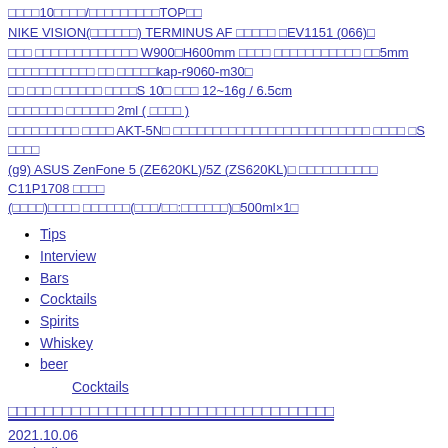□□□□10□□□□/□□□□□□□□□TOP□□
NIKE VISION(□□□□□□) TERMINUS AF □□□□□ □EV1151 (066)□
□□□ □□□□□□□□□□□□□ W900□H600mm □□□□ □□□□□□□□□□□ □□5mm □□□□□□□□□□□ □□ □□□□□kap-r9060-m30□
□□ □□□ □□□□□□ □□□□S 10□ □□□ 12~16g / 6.5cm
□□□□□□□ □□□□□□ 2ml ( □□□□ )
□□□□□□□□□ □□□□ AKT-5N□ □□□□□□□□□□□□□□□□□□□□□□□□□ □□□□ □S □□□□
(g9) ASUS ZenFone 5 (ZE620KL)/5Z (ZS620KL)□ □□□□□□□□□□ C11P1708 □□□□
(□□□□)□□□□ □□□□□□(□□□/□□:□□□□□□)□500ml×1□
Tips
Interview
Bars
Cocktails
Spirits
Whiskey
beer
Cocktails
□□□□□□□□□□□□□□□□□□□□□□□□□□□□□□□□□□□□
2021.10.06
Cocktails